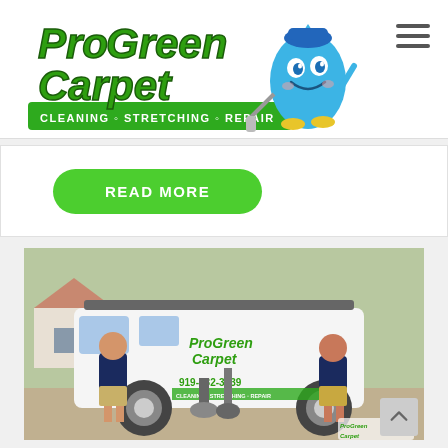[Figure (logo): ProGreen Carpet logo with animated water drop mascot holding cleaning wand, text reads 'ProGreen Carpet - Cleaning Stretching Repair' on green banner]
[Figure (other): Hamburger/menu icon with three horizontal lines]
[Figure (other): Green 'READ MORE' button]
[Figure (photo): Photo of two ProGreen Carpet employees in navy polo shirts standing in front of white company van with equipment. Van shows phone number 919-332-3039 and ProGreen Carpet logo.]